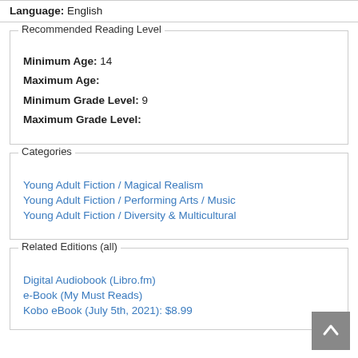Language: English
Recommended Reading Level
Minimum Age: 14
Maximum Age:
Minimum Grade Level: 9
Maximum Grade Level:
Categories
Young Adult Fiction / Magical Realism
Young Adult Fiction / Performing Arts / Music
Young Adult Fiction / Diversity & Multicultural
Related Editions (all)
Digital Audiobook (Libro.fm)
e-Book (My Must Reads)
Kobo eBook (July 5th, 2021): $8.99